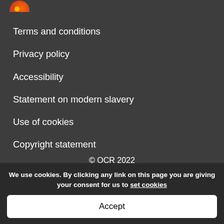[Figure (logo): OCR/Cambridge logo circle red-orange gradient at top left corner]
Terms and conditions
Privacy policy
Accessibility
Statement on modern slavery
Use of cookies
Copyright statement
© OCR 2022
[Figure (logo): Cambridge University Press & Assessment logo with shield emblem in white on dark background]
We use cookies. By clicking any link on this page you are giving your consent for us to set cookies
Accept